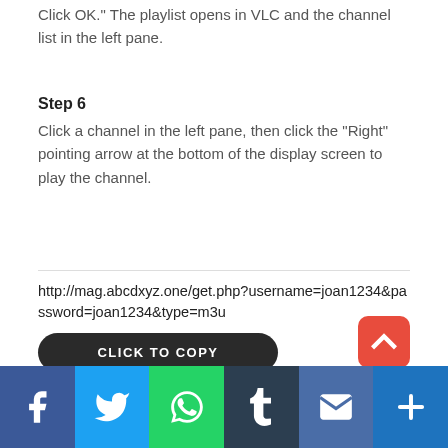Click OK." The playlist opens in VLC and the channel list in the left pane.
Step 6
Click a channel in the left pane, then click the "Right" pointing arrow at the bottom of the display screen to play the channel.
http://mag.abcdxyz.one/get.php?username=joan1234&password=joan1234&type=m3u
CLICK TO COPY
http://pro.viponetv.com:25443/get.php?u...x8K D...